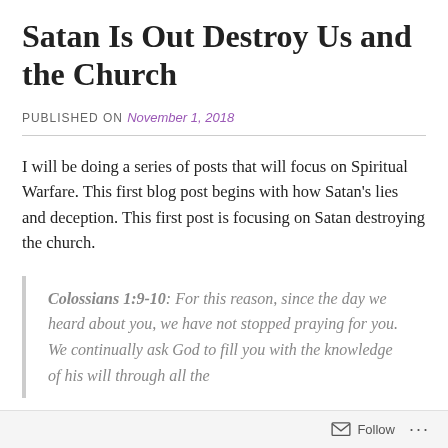Satan Is Out Destroy Us and the Church
PUBLISHED ON November 1, 2018
I will be doing a series of posts that will focus on Spiritual Warfare. This first blog post begins with how Satan’s lies and deception. This first post is focusing on Satan destroying the church.
Colossians 1:9-10: For this reason, since the day we heard about you, we have not stopped praying for you. We continually ask God to fill you with the knowledge of his will through all the
Follow …